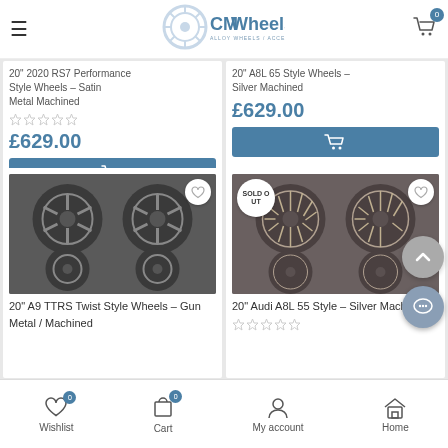CMWheels – Alloy Wheels / Accessories / Styling
[Figure (screenshot): Top-left product card (partial): 20" 2020 RS7 Performance Style Wheels – Satin Metal Machined, £629.00, add to cart button]
[Figure (screenshot): Top-right product card (partial): 20" A8L 65 Style Wheels – Silver Machined, £629.00, add to cart button]
[Figure (photo): Bottom-left product: photo of 4 gun metal/machined alloy wheels (A9 TTRS twist style)]
20" A9 TTRS Twist Style Wheels – Gun Metal / Machined
[Figure (photo): Bottom-right product: photo of 4 silver machined alloy wheels (Audi A8L 55 style), SOLD OUT badge]
20" Audi A8L 55 Style – Silver Machined
Wishlist 0 | Cart 0 | My account | Home